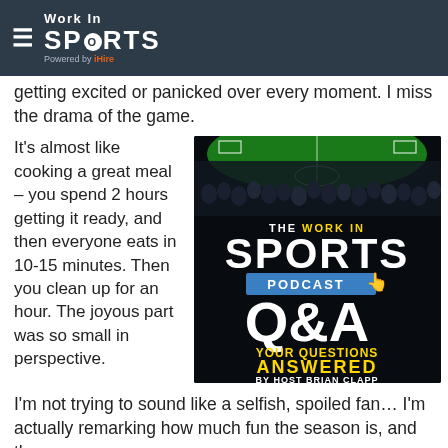Work In SPORTS - Powered by iHire
getting excited or panicked over every moment. I miss the drama of the game.
It's almost like cooking a great meal – you spend 2 hours getting it ready, and then everyone eats in 10-15 minutes. Then you clean up for an hour. The joyous part was so small in perspective.
[Figure (illustration): The Work In Sports Podcast Q&A Your Questions Answered by Host Brian Clapp - podcast cover art with crowd silhouette and soccer field background]
I'm not trying to sound like a selfish, spoiled fan… I'm actually remarking how much fun the season is, and then